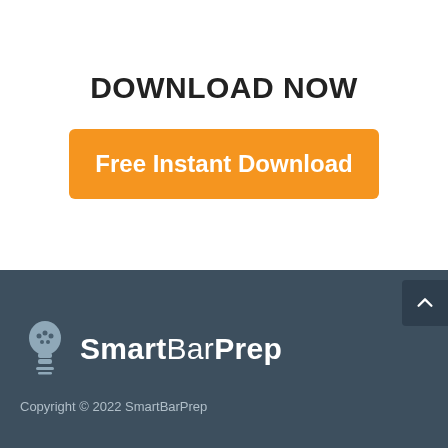DOWNLOAD NOW
[Figure (other): Orange button with text 'Free Instant Download']
[Figure (logo): SmartBarPrep logo with lightbulb icon and text 'SmartBarPrep']
Copyright © 2022 SmartBarPrep